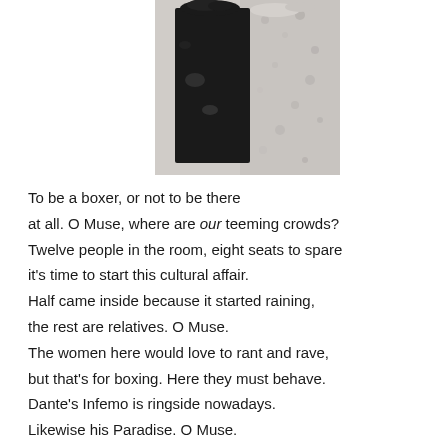[Figure (photo): Black and white photograph of what appears to be a dark rectangular object (possibly a book or block) against a textured stone or rough surface background.]
To be a boxer, or not to be there
at all. O Muse, where are our teeming crowds?
Twelve people in the room, eight seats to spare
it's time to start this cultural affair.
Half came inside because it started raining,
the rest are relatives. O Muse.
The women here would love to rant and rave,
but that's for boxing. Here they must behave.
Dante's Infemo is ringside nowadays.
Likewise his Paradise. O Muse.
Oh, not to be a boxer but a poet.